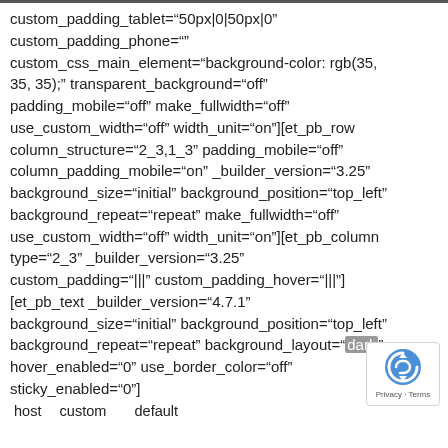custom_padding_tablet="50px|0|50px|0" custom_padding_phone="" custom_css_main_element="background-color: rgb(35, 35, 35);" transparent_background="off" padding_mobile="off" make_fullwidth="off" use_custom_width="off" width_unit="on"][et_pb_row column_structure="2_3,1_3" padding_mobile="off" column_padding_mobile="on" _builder_version="3.25" background_size="initial" background_position="top_left" background_repeat="repeat" make_fullwidth="off" use_custom_width="off" width_unit="on"][et_pb_column type="2_3" _builder_version="3.25" custom_padding="|||" custom_padding_hover="|||"] [et_pb_text _builder_version="4.7.1" background_size="initial" background_position="top_left" background_repeat="repeat" background_layout="dark" hover_enabled="0" use_border_color="off" sticky_enabled="0"]